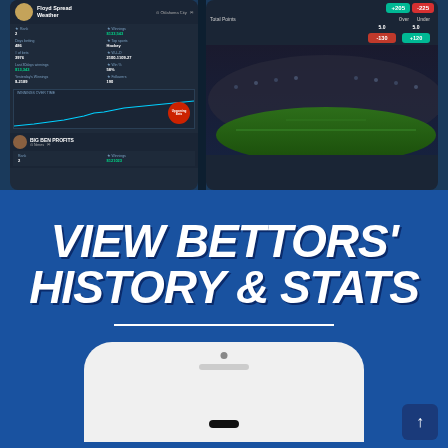[Figure (screenshot): Two mobile app screenshots showing sports betting interface. Left screen shows bettor profile 'Floyd Spread Weather' with stats (Rank 2, Winnings $133,543, Top sports Hockey, # of bets 3976, W-L-D, Win % 58%, Followers 190), a winnings over time chart with an Upcoming Bets button, and a second profile 'BIG BEN PROFITS'. Right screen shows betting odds with +205 and -225 buttons, Total Points with Over 5.0 and Under 5.0, and -130 and +120 buttons, above a stadium background.]
[Figure (screenshot): Dark blue promotional banner with large bold white italic text 'VIEW BETTORS' HISTORY & STATS', a white horizontal divider line, and the top portion of a white mobile phone device below it. A dark blue navigation arrow button is in the bottom right corner.]